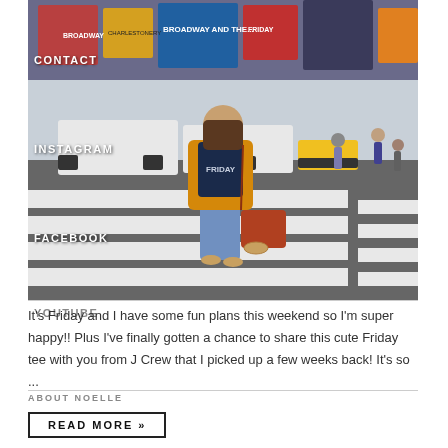[Figure (photo): Woman in a yellow cardigan and navy 'FRIDAY' tee crossing a zebra crossing in Times Square, New York City, carrying a brown leather bag. Billboards and yellow taxis visible in background.]
CONTACT
INSTAGRAM
FACEBOOK
YOUTUBE
It's Friday and I have some fun plans this weekend so I'm super happy!! Plus I've finally gotten a chance to share this cute Friday tee with you from J Crew that I picked up a few weeks back! It's so ...
ABOUT NOELLE
READ MORE »